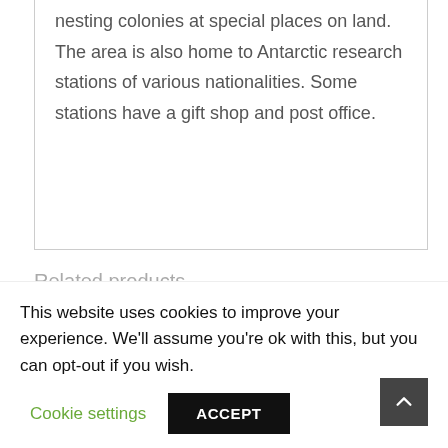nesting colonies at special places on land. The area is also home to Antarctic research stations of various nationalities. Some stations have a gift shop and post office.
Related products
This website uses cookies to improve your experience. We'll assume you're ok with this, but you can opt-out if you wish.
Cookie settings
ACCEPT